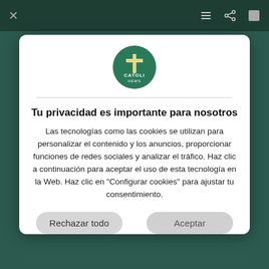[Figure (screenshot): Dark green app background with top navigation bar containing a close (X) icon on the left and menu, share, and image icons on the right.]
[Figure (logo): Catoli News circular logo — green circle with a cross and the text CATOLI NEWS]
Tu privacidad es importante para nosotros
Las tecnologías como las cookies se utilizan para personalizar el contenido y los anuncios, proporcionar funciones de redes sociales y analizar el tráfico. Haz clic a continuación para aceptar el uso de esta tecnología en la Web. Haz clic en "Configurar cookies" para ajustar tu consentimiento.